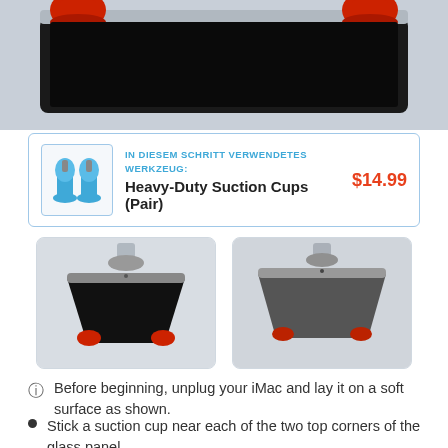[Figure (photo): Top portion of iMac lying flat with red suction cups attached to corners, on a soft surface, partially cropped]
IN DIESEM SCHRITT VERWENDETES WERKZEUG: Heavy-Duty Suction Cups (Pair) $14.99
[Figure (photo): Two step images showing iMac glass panel with suction cups attached at top corners - left image shows black panel view, right shows gray panel view]
Before beginning, unplug your iMac and lay it on a soft surface as shown.
Stick a suction cup near each of the two top corners of the glass panel.
To attach the suction cups we sell, first position the suction cup with the movable handle parallel to the